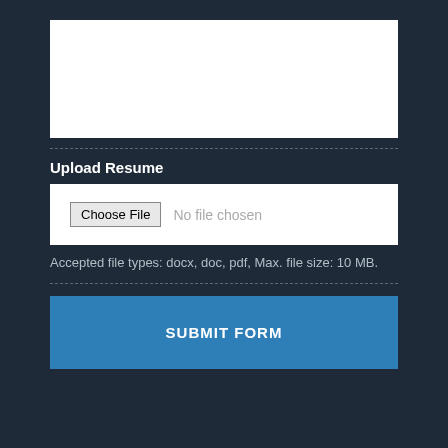[Figure (screenshot): White textarea input box, empty]
Upload Resume
[Figure (screenshot): File input widget with Choose File button and 'No file chosen' placeholder text]
Accepted file types: docx, doc, pdf, Max. file size: 10 MB.
SUBMIT FORM